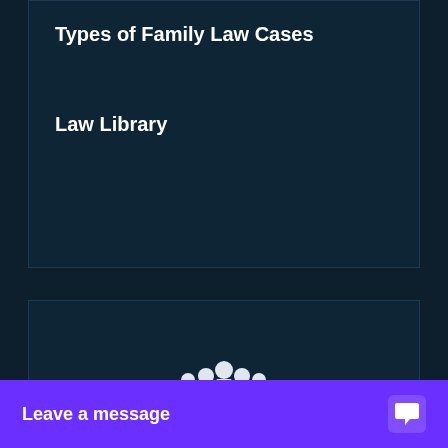Types of Family Law Cases
Law Library
[Figure (illustration): Icon of a jury panel — multiple human figures seated behind a bench/desk]
JUROR INFORMATION
[Figure (illustration): Icon of books and a pen/pencil]
Co...
Leave a message